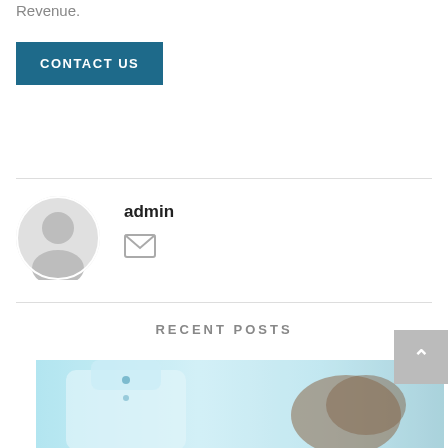Revenue.
CONTACT US
admin
[Figure (illustration): Author avatar: grey circular user silhouette icon]
[Figure (illustration): Email envelope icon]
RECENT POSTS
[Figure (photo): Photo of a doctor in a white coat with a stethoscope and another person in background, blue/teal tones]